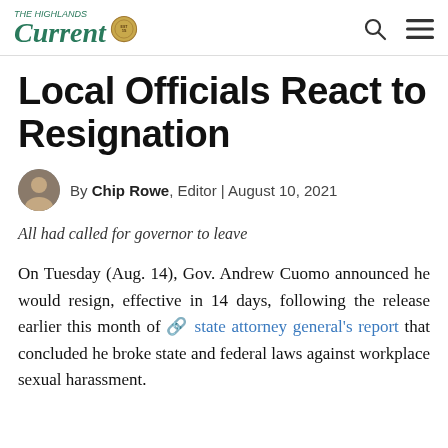The Highlands Current | navigation icons
Local Officials React to Resignation
By Chip Rowe, Editor | August 10, 2021
All had called for governor to leave
On Tuesday (Aug. 14), Gov. Andrew Cuomo announced he would resign, effective in 14 days, following the release earlier this month of state attorney general’s report that concluded he broke state and federal laws against workplace sexual harassment.